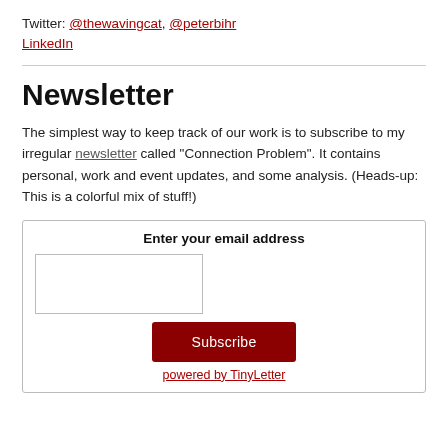Twitter: @thewavingcat, @peterbihr
LinkedIn
Newsletter
The simplest way to keep track of our work is to subscribe to my irregular newsletter called "Connection Problem". It contains personal, work and event updates, and some analysis. (Heads-up: This is a colorful mix of stuff!)
| Enter your email address |  |
| [email input] |  |
| Subscribe |  |
| powered by TinyLetter |  |